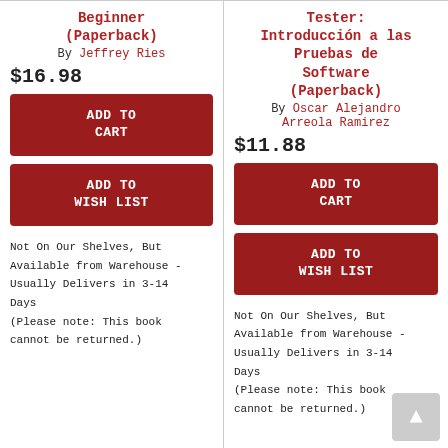Beginner (Paperback)
By Jeffrey Ries
$16.98
ADD TO CART
ADD TO WISH LIST
Not On Our Shelves, But Available from Warehouse - Usually Delivers in 3-14 Days
(Please note: This book cannot be returned.)
Tester: Introducción a las Pruebas de Software (Paperback)
By Oscar Alejandro Arreola Ramirez
$11.88
ADD TO CART
ADD TO WISH LIST
Not On Our Shelves, But Available from Warehouse - Usually Delivers in 3-14 Days
(Please note: This book cannot be returned.)